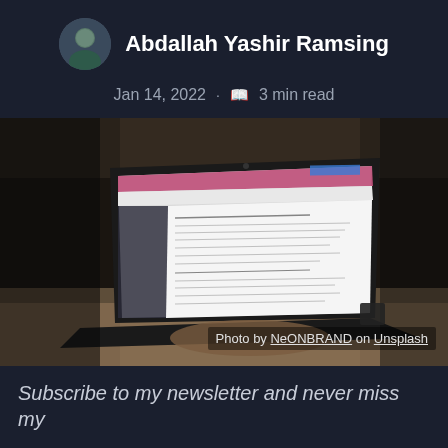Abdallah Yashir Ramsing
Jan 14, 2022 · 3 min read
[Figure (photo): Laptop computer on a desk with a browser/document open on screen, photographed from front-side angle in a dark environment. Caption: Photo by NeONBRAND on Unsplash]
Photo by NeONBRAND on Unsplash
Subscribe to my newsletter and never miss my